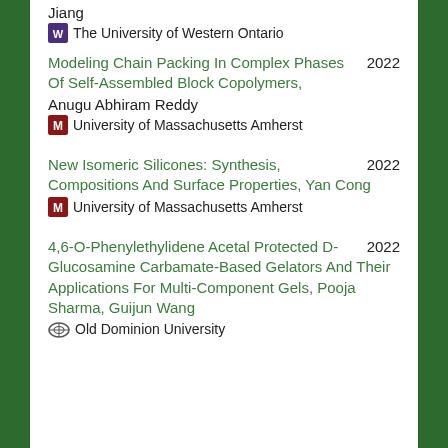Jiang
The University of Western Ontario
Modeling Chain Packing In Complex Phases Of Self-Assembled Block Copolymers, Anugu Abhiram Reddy — University of Massachusetts Amherst — 2022
New Isomeric Silicones: Synthesis, Compositions And Surface Properties, Yan Cong — University of Massachusetts Amherst — 2022
4,6-O-Phenylethylidene Acetal Protected D-Glucosamine Carbamate-Based Gelators And Their Applications For Multi-Component Gels, Pooja Sharma, Guijun Wang — Old Dominion University — 2022